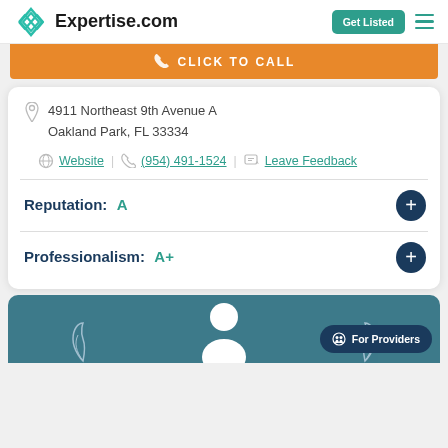Expertise.com  Get Listed
[Figure (screenshot): Orange 'CLICK TO CALL' button bar]
4911 Northeast 9th Avenue A Oakland Park, FL 33334
Website  (954) 491-1524  Leave Feedback
Reputation:  A
Professionalism:  A+
[Figure (screenshot): Teal card with silhouette, leaf decorations, and 'For Providers' pill button]